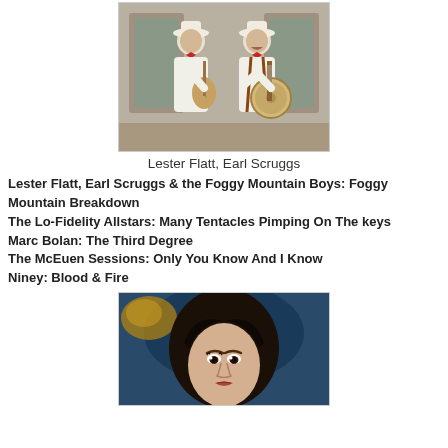[Figure (photo): Two men in white suits with red bow ties playing instruments — one with a guitar, one with a banjo — on a stage set]
Lester Flatt, Earl Scruggs
Lester Flatt, Earl Scruggs & the Foggy Mountain Boys: Foggy Mountain Breakdown
The Lo-Fidelity Allstars: Many Tentacles Pimping On The keys
Marc Bolan: The Third Degree
The McEuen Sessions: Only You Know And I Know
Niney: Blood & Fire
[Figure (photo): Close-up portrait of a woman with dark hair]